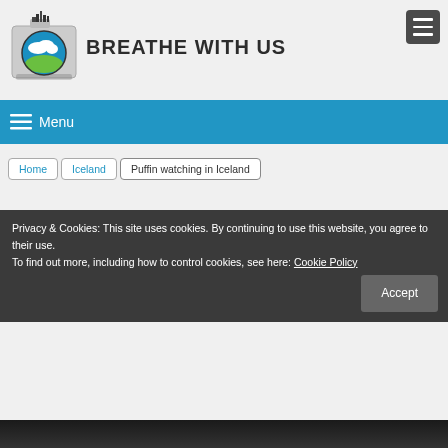[Figure (logo): Breathe With Us website logo: camera icon with globe/cloud graphic and site name text]
BREATHE WITH US
≡ Menu
Home | Iceland | Puffin watching in Iceland
Privacy & Cookies: This site uses cookies. By continuing to use this website, you agree to their use.
To find out more, including how to control cookies, see here: Cookie Policy
Accept